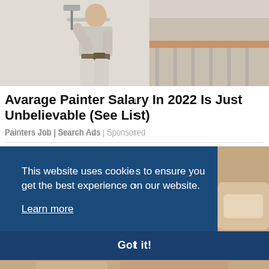[Figure (photo): A painter in a white t-shirt and light pants painting a wall with a roller, tool belt around waist, viewed from behind, next to a staircase with wooden railing]
Avarage Painter Salary In 2022 Is Just Unbelievable (See List)
Painters Job | Search Ads | Sponsored
[Figure (screenshot): Cookie consent banner with navy blue background. Text: 'This website uses cookies to ensure you get the best experience on our website.' with a 'Learn more' underlined link. A 'Got it!' button at the bottom. Right side shows a partial photo of hands.]